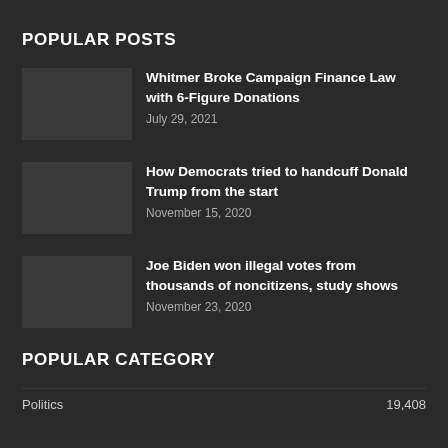POPULAR POSTS
Whitmer Broke Campaign Finance Law with 6-Figure Donations
July 29, 2021
How Democrats tried to handcuff Donald Trump from the start
November 15, 2020
Joe Biden won illegal votes from thousands of noncitizens, study shows
November 23, 2020
POPULAR CATEGORY
Politics    19,408